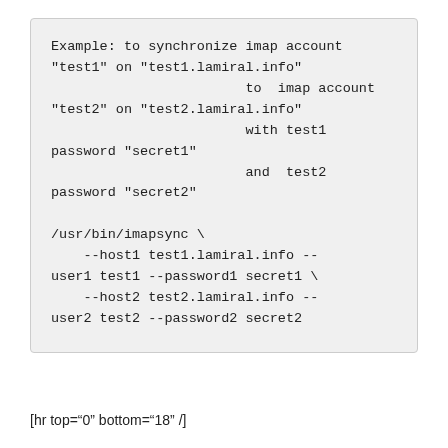Example: to synchronize imap account
"test1" on "test1.lamiral.info"
                        to  imap account
"test2" on "test2.lamiral.info"
                        with test1
password "secret1"
                        and  test2
password "secret2"

/usr/bin/imapsync \
    --host1 test1.lamiral.info --
user1 test1 --password1 secret1 \
    --host2 test2.lamiral.info --
user2 test2 --password2 secret2
[hr top="0" bottom="18" /]